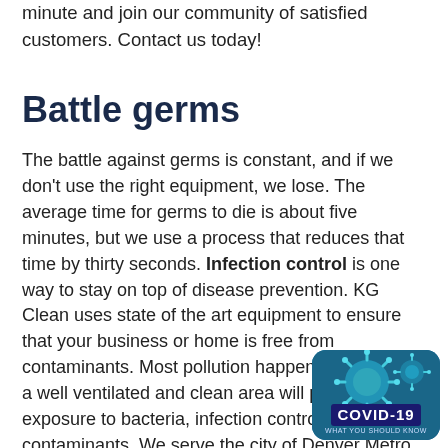minute and join our community of satisfied customers. Contact us today!
Battle germs
The battle against germs is constant, and if we don't use the right equipment, we lose. The average time for germs to die is about five minutes, but we use a process that reduces that time by thirty seconds. Infection control is one way to stay on top of disease prevention. KG Clean uses state of the art equipment to ensure that your business or home is free from contaminants. Most pollution happens indoors, so a well ventilated and clean area will prevent exposure to bacteria, infection control, and contaminants. We serve the city of Denver Metro and are a certified cleaning company. Our years of experience give us the confidence to tackle any cleaning job. We k is essential to maintain a level of cleanlines site. commercial building, and even your ho
[Figure (photo): COVID-19 badge/thumbnail showing blue virus particles with COVID-19 label text]